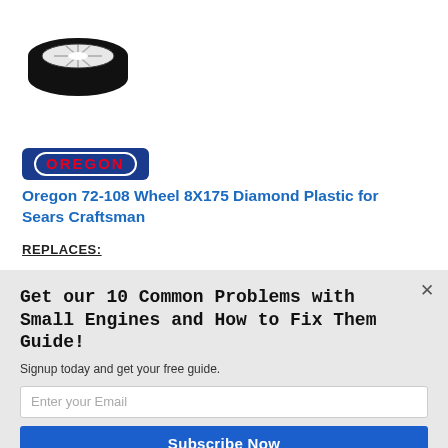[Figure (photo): Black rubber wheel with white plastic hub, diamond pattern, viewed from above at a slight angle]
[Figure (logo): Oregon brand logo — blue rectangle background with red OREGON text in oval border]
Oregon 72-108 Wheel 8X175 Diamond Plastic for Sears Craftsman
REPLACES:
Get our 10 Common Problems with Small Engines and How to Fix Them Guide!
Signup today and get your free guide.
Enter your Email
Subscribe Now